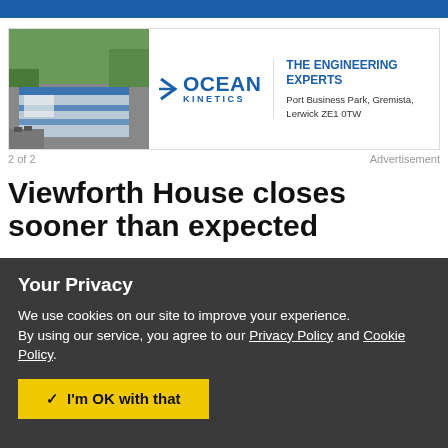[Figure (photo): Ocean Kinetics advertisement with aerial photo of industrial building on left, Ocean Kinetics logo in center, and tagline 'THE ENGINEERING EXPERTS, Port Business Park, Gremista, Lerwick ZE1 0TW' on right]
2 of 2    Advertisement
Viewforth House closes sooner than expected
Your Privacy
We use cookies on our site to improve your experience.
By using our service, you agree to our Privacy Policy and Cookie Policy.
✓  I'm OK with that